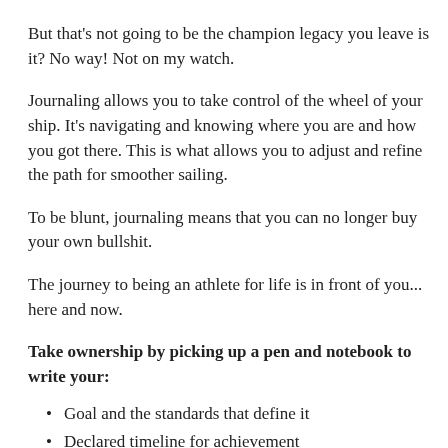But that's not going to be the champion legacy you leave is it? No way! Not on my watch.
Journaling allows you to take control of the wheel of your ship. It's navigating and knowing where you are and how you got there. This is what allows you to adjust and refine the path for smoother sailing.
To be blunt, journaling means that you can no longer buy your own bullshit.
The journey to being an athlete for life is in front of you... here and now.
Take ownership by picking up a pen and notebook to write your:
Goal and the standards that define it
Declared timeline for achievement
Outline process goals with strategies and tactics